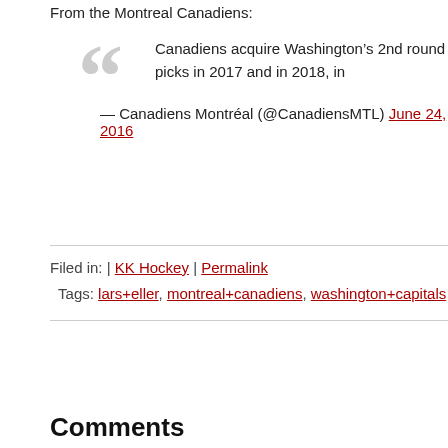From the Montreal Canadiens:
Canadiens acquire Washington’s 2nd round picks in 2017 and in 2018, in
— Canadiens Montréal (@CanadiensMTL) June 24, 2016
Filed in: | KK Hockey | Permalink
Tags: lars+eller, montreal+canadiens, washington+capitals
Comments